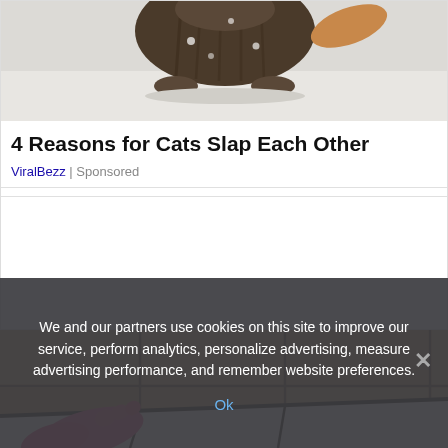[Figure (photo): Photo of a cat (tabby/striped) standing in snow, viewed from above/behind]
4 Reasons for Cats Slap Each Other
ViralBezz | Sponsored
[Figure (photo): Photo of a bathroom corner with tan/beige tiles and dark grout, with a pink rubber glove hand pointing at the bathtub edge where mold/dark staining is visible]
We and our partners use cookies on this site to improve our service, perform analytics, personalize advertising, measure advertising performance, and remember website preferences.
Ok